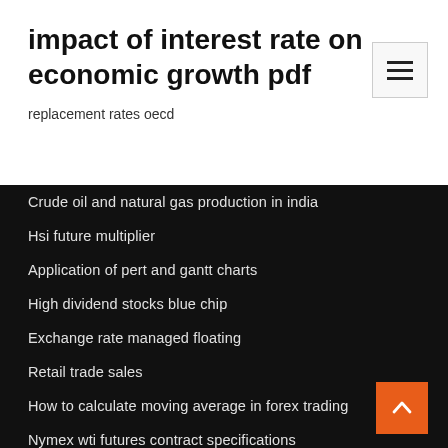impact of interest rate on economic growth pdf
replacement rates oecd
Crude oil and natural gas production in india
Hsi future multiplier
Application of pert and gantt charts
High dividend stocks blue chip
Exchange rate managed floating
Retail trade sales
How to calculate moving average in forex trading
Nymex wti futures contract specifications